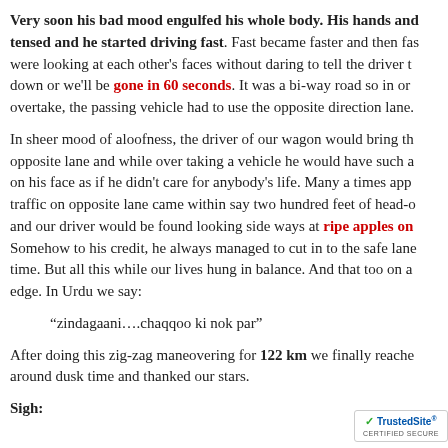Very soon his bad mood engulfed his whole body. His hands and tensed and he started driving fast. Fast became faster and then fas were looking at each other's faces without daring to tell the driver t down or we'll be gone in 60 seconds. It was a bi-way road so in or overtake, the passing vehicle had to use the opposite direction lane.
In sheer mood of aloofness, the driver of our wagon would bring th opposite lane and while over taking a vehicle he would have such a on his face as if he didn't care for anybody's life. Many a times app traffic on opposite lane came within say two hundred feet of head-o and our driver would be found looking side ways at ripe apples on Somehow to his credit, he always managed to cut in to the safe lane time. But all this while our lives hung in balance. And that too on a edge. In Urdu we say:
“zindagaani….chaqqoo ki nok par”
After doing this zig-zag maneovering for 122 km we finally reache around dusk time and thanked our stars.
Sigh: